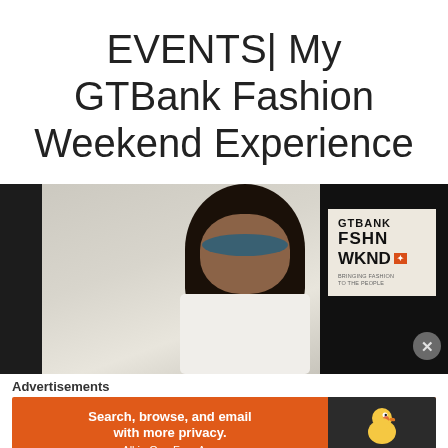EVENTS| My GTBank Fashion Weekend Experience
[Figure (photo): Woman wearing sunglasses and white shirt standing in front of a GTBank FSHN WKND sign/banner and dark door frame]
Advertisements
[Figure (infographic): DuckDuckGo advertisement banner: 'Search, browse, and email with more privacy. All in One Free App' with DuckDuckGo duck logo on dark background]